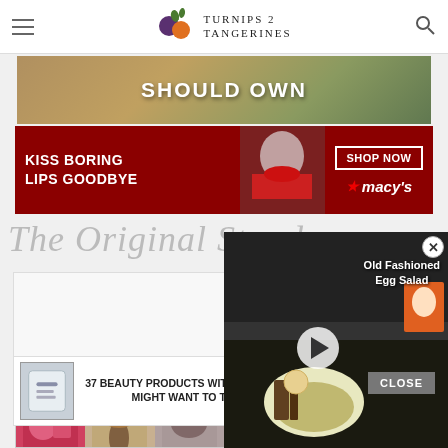TURNIPS 2 TANGERINES
[Figure (photo): Promotional banner with text SHOULD OWN on gradient background]
[Figure (photo): Macy's advertisement: KISS BORING LIPS GOODBYE with woman wearing red lipstick, SHOP NOW button and Macy's logo]
The Original Stand
[Figure (screenshot): Video overlay showing Old Fashioned Egg Salad with play button, close X button]
[Figure (photo): Advertisement: 37 BEAUTY PRODUCTS WITH SUCH GOOD REVIEWS YOU MIGHT WANT TO TRY THEM YOURSELF with product image and 22 Words badge]
[Figure (photo): CLOSE button overlay]
[Figure (photo): Ulta Beauty advertisement banner with makeup imagery and SHOP NOW text]